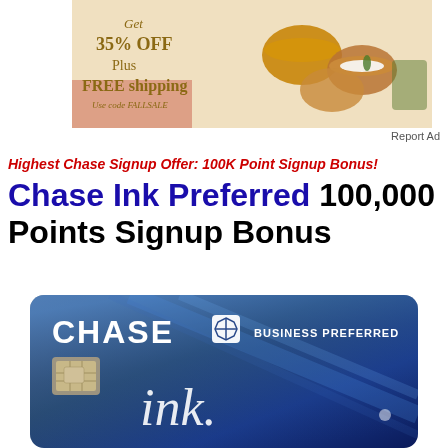[Figure (photo): Advertisement banner showing Indian copper cookware and food items with text 'Get 35% OFF Plus FREE shipping Use code FALLSALE']
Report Ad
Highest Chase Signup Offer: 100K Point Signup Bonus! Chase Ink Preferred 100,000 Points Signup Bonus
[Figure (photo): Chase Ink Business Preferred credit card, dark blue with Chase logo and 'ink' signature script]